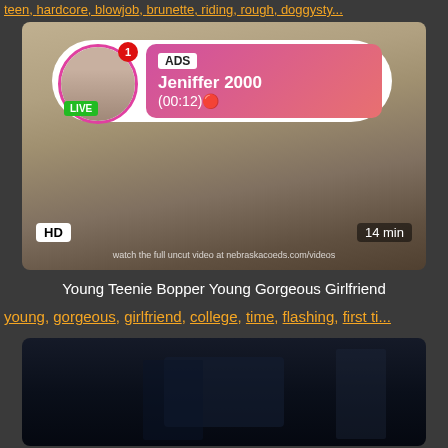teen, hardcore, blowjob, brunette, riding, rough, doggysty...
[Figure (screenshot): Video thumbnail showing a person on a tiled floor, with an overlay ad bubble featuring a live user named Jeniffer 2000, HD badge, 14 min duration, and nebraska coeds watermark]
Young Teenie Bopper Young Gorgeous Girlfriend
young, gorgeous, girlfriend, college, time, flashing, first ti...
[Figure (screenshot): Dark video thumbnail showing a horror or action scene with figures in a dark environment]